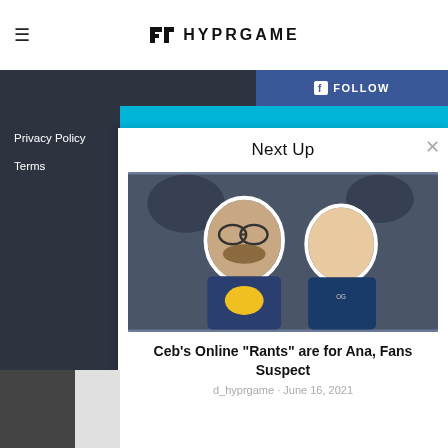HYPRGAME
Privacy Policy
Terms
Next Up
[Figure (photo): Two esports players, one with glasses and beard holding a yellow object, another in a team jacket, against a dark gaming background]
Ceb's Online "Rants" are for Ana, Fans Suspect
d_hyprgame · June 16, 2021